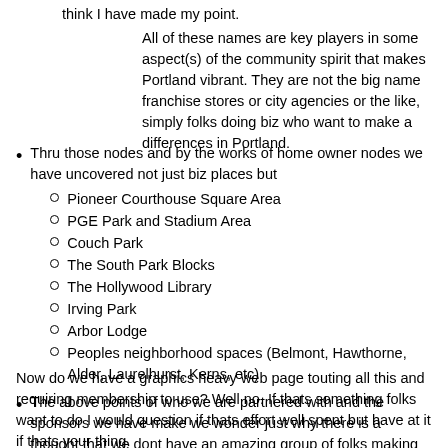think I have made my point.
All of these names are key players in some aspect(s) of the community spirit that makes Portland vibrant. They are not the big name franchise stores or city agencies or the like, simply folks doing biz who want to make a differences in Portland.
Thru those nodes and by the works of home owner nodes we have uncovered not just biz places but
Pioneer Courthouse Square Area
PGE Park and Stadium Area
Couch Park
The South Park Blocks
The Hollywood Library
Irving Park
Arbor Lodge
Peoples neighborhood spaces (Belmont, Hawthorne, Alder, Laurelhurst, Kerns, etc)
The above points of who we are partnered with and the sponsors we have make we wonder just why there is a thought that we dont have an amazing group of folks making possible the nodes?
Now do we have a graphics heavy web page touting all this and requiring membership to use? Well no. If thats something folks want to do I would question if thats effort well spent but have at it if thats your thing.